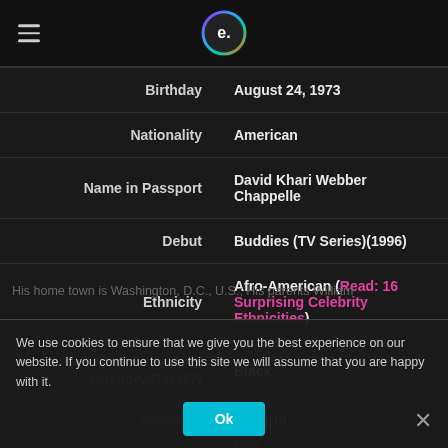e. (logo)
| Field | Value |
| --- | --- |
| Birthday | August 24, 1973 |
| Nationality | American |
| Name in Passport | David Khari Webber Chappelle |
| Debut | Buddies (TV Series)(1996) |
| Ethnicity | Afro-American (Read: 16 Surprising Celebrity Ethnicities) |
| Ethnic category/Race(?) | Black |
| Sexuality | Straight |
|  | Nay |
His home town is Washington, D.C., U.S.; His parents William
We use cookies to ensure that we give you the best experience on our website. If you continue to use this site we will assume that you are happy with it.